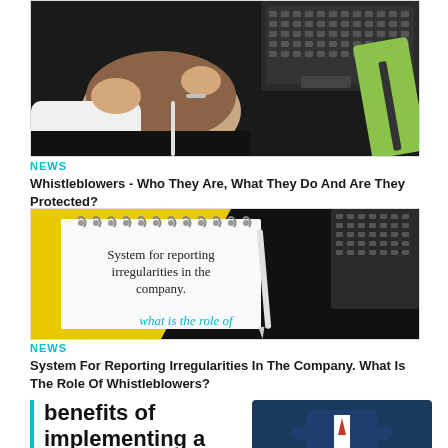[Figure (photo): Person with head down on desk holding head with hands, laptop and glasses visible in background on dark desk]
NEWS
Whistleblowers - Who They Are, What They Do And Are They Protected?
[Figure (photo): Notepad with text 'System for reporting irregularities in the company. what is the role of' on yellow and black background with laptop and pen]
NEWS
System For Reporting Irregularities In The Company. What Is The Role Of Whistleblowers?
benefits of implementing a